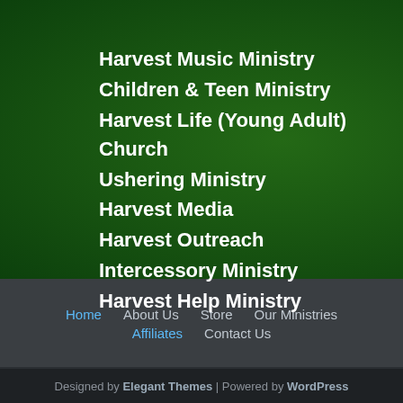Harvest Music Ministry
Children & Teen Ministry
Harvest Life (Young Adult) Church
Ushering Ministry
Harvest Media
Harvest Outreach
Intercessory Ministry
Harvest Help Ministry
Home  About Us  Store  Our Ministries  Affiliates  Contact Us
Designed by Elegant Themes | Powered by WordPress